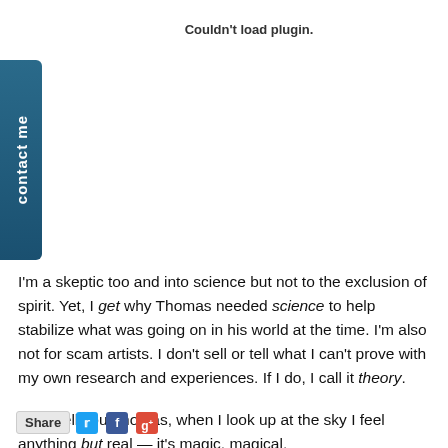Couldn't load plugin.
[Figure (other): Contact me vertical tab on left side]
I'm a skeptic too and into science but not to the exclusion of spirit. Yet, I get why Thomas needed science to help stabilize what was going on in his world at the time. I'm also not for scam artists. I don't sell or tell what I can't prove with my own research and experiences. If I do, I call it theory.
And I tell you Thomas, when I look up at the sky I feel anything but real — it's magic, magical.
[Figure (other): Share bar with Twitter, Facebook, and Google+ icons]